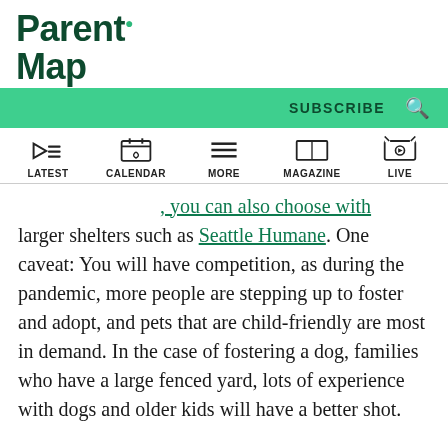ParentMap
SUBSCRIBE
LATEST | CALENDAR | MORE | MAGAZINE | LIVE
larger shelters such as Seattle Humane. One caveat: You will have competition, as during the pandemic, more people are stepping up to foster and adopt, and pets that are child-friendly are most in demand. In the case of fostering a dog, families who have a large fenced yard, lots of experience with dogs and older kids will have a better shot.